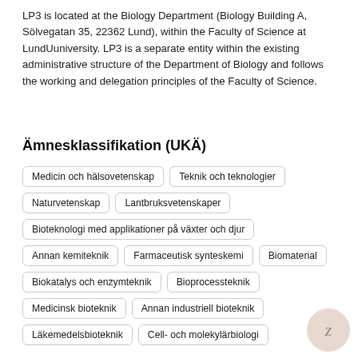LP3 is located at the Biology Department (Biology Building A, Sölvegatan 35, 22362 Lund), within the Faculty of Science at LundUuniversity. LP3 is a separate entity within the existing administrative structure of the Department of Biology and follows the working and delegation principles of the Faculty of Science.
Ämnesklassifikation (UKÄ)
Medicin och hälsovetenskap
Teknik och teknologier
Naturvetenskap
Lantbruksvetenskaper
Bioteknologi med applikationer på växter och djur
Annan kemiteknik
Farmaceutisk synteskemi
Biomaterial
Biokatalys och enzymteknik
Bioprocessteknik
Medicinsk bioteknik
Annan industriell bioteknik
Läkemedelsbioteknik
Cell- och molekylärbiologi